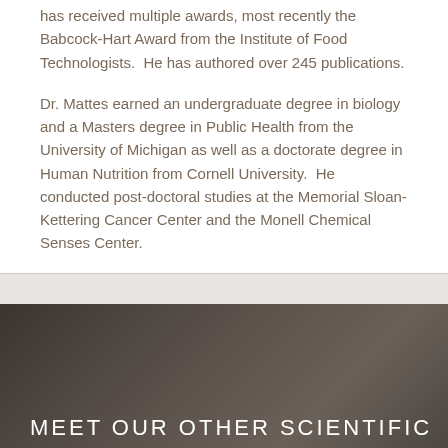has received multiple awards, most recently the Babcock-Hart Award from the Institute of Food Technologists.  He has authored over 245 publications.
Dr. Mattes earned an undergraduate degree in biology and a Masters degree in Public Health from the University of Michigan as well as a doctorate degree in Human Nutrition from Cornell University.  He conducted post-doctoral studies at the Memorial Sloan-Kettering Cancer Center and the Monell Chemical Senses Center.
[Figure (photo): Dark textured background image with overlaid text reading MEET OUR OTHER SCIENTIFIC]
MEET OUR OTHER SCIENTIFIC